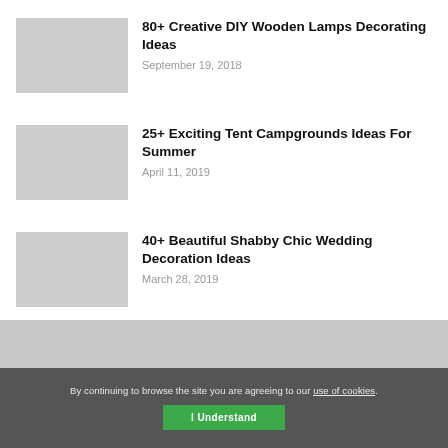80+ Creative DIY Wooden Lamps Decorating Ideas
September 19, 2018
25+ Exciting Tent Campgrounds Ideas For Summer
April 11, 2019
40+ Beautiful Shabby Chic Wedding Decoration Ideas
March 28, 2019
By continuing to browse the site you are agreeing to our use of cookies.
I Understand